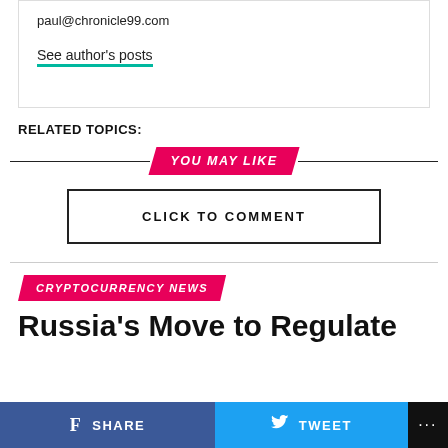paul@chronicle99.com
See author's posts
RELATED TOPICS:
YOU MAY LIKE
CLICK TO COMMENT
CRYPTOCURRENCY NEWS
Russia's Move to Regulate
SHARE
TWEET